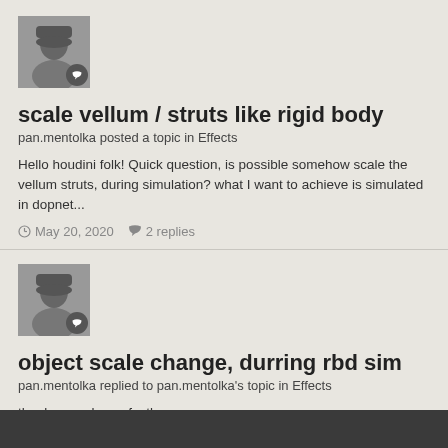[Figure (photo): Black and white avatar photo of a person wearing a hat, with a speech bubble badge icon]
scale vellum / struts like rigid body
pan.mentolka posted a topic in Effects
Hello houdini folk! Quick question, is possible somehow scale the vellum struts, during simulation? what I want to achieve is simulated in dopnet...
May 20, 2020   2 replies
[Figure (photo): Black and white avatar photo of a person wearing a hat, with a speech bubble badge icon]
object scale change, durring rbd sim
pan.mentolka replied to pan.mentolka's topic in Effects
thank u. works perfectly
May 20, 2020   2 replies